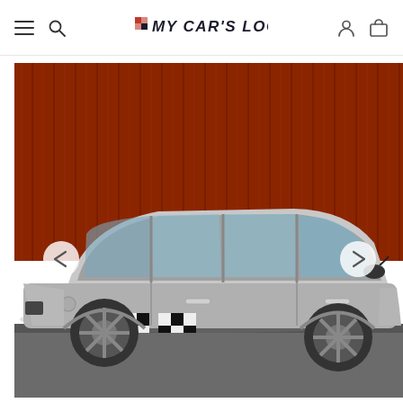My Car's Look — navigation header with menu, search, logo, user, and cart icons
[Figure (photo): Side profile of a silver MINI Cooper Clubman with black checkered flag decal stickers on the lower door panels, parked in front of a red wooden plank wall. Navigation arrows visible on left and right sides of the image.]